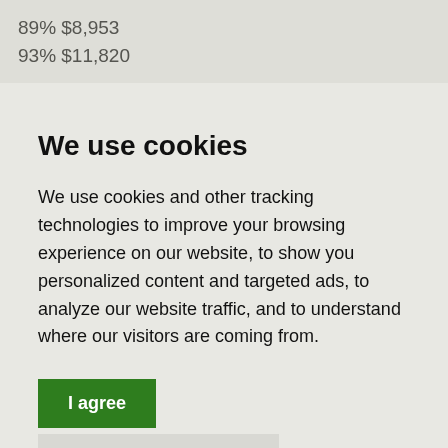89% $8,953
93% $11,820
We use cookies
We use cookies and other tracking technologies to improve your browsing experience on our website, to show you personalized content and targeted ads, to analyze our website traffic, and to understand where our visitors are coming from.
I agree
Change my preferences